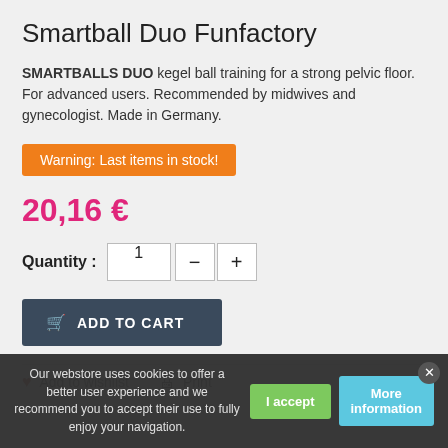Smartball Duo Funfactory
SMARTBALLS DUO kegel ball training for a strong pelvic floor. For advanced users. Recommended by midwives and gynecologist. Made in Germany.
Warning: Last items in stock!
20,16 €
Quantity : 1
ADD TO CART
Add to wishlist   Print
Our webstore uses cookies to offer a better user experience and we recommend you to accept their use to fully enjoy your navigation.